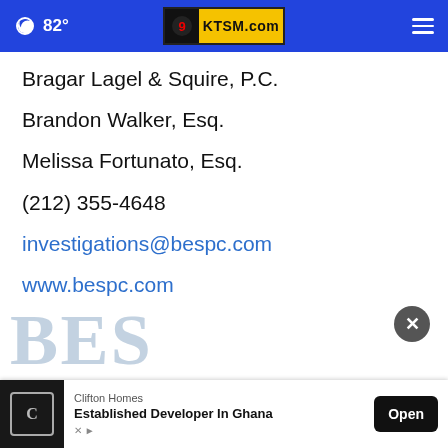82° KTSM.com
Bragar Lagel & Squire, P.C.
Brandon Walker, Esq.
Melissa Fortunato, Esq.
(212) 355-4648
investigations@bespc.com
www.bespc.com
[Figure (logo): BES partial logo letters in light blue-grey serif font, partially visible at bottom of page]
[Figure (screenshot): Ad banner: Clifton Homes - Established Developer In Ghana, with Open button]